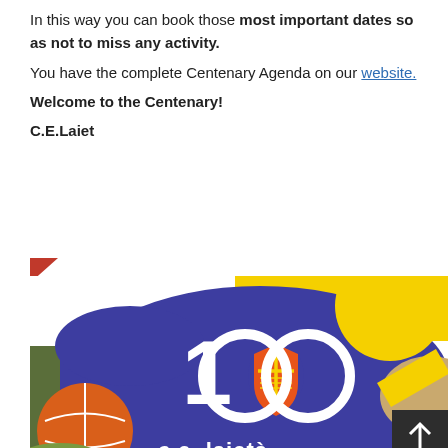In this way you can book those most important dates so as not to miss any activity. You have the complete Centenary Agenda on our website. Welcome to the Centenary! C.E.Laiet
[Figure (illustration): C.E. Laietà centenary logo image: a dark blue background with colorful graphic elements including basketball, yellow circles, green areas, and a red-orange shield. White text shows '100' with the C.E. Laietà shield integrated into the zeros, and 'c.e. laietà' text at the bottom.]